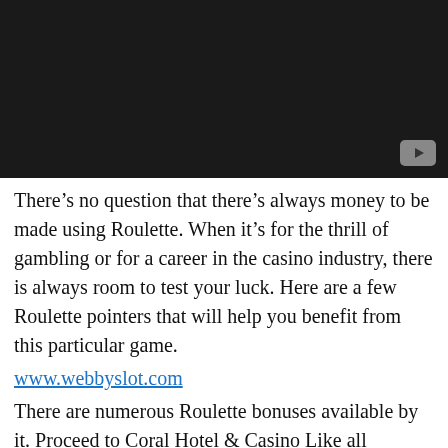[Figure (screenshot): Dark/black video thumbnail with a YouTube play button icon in the bottom-right corner]
There’s no question that there’s always money to be made using Roulette. When it’s for the thrill of gambling or for a career in the casino industry, there is always room to test your luck. Here are a few Roulette pointers that will help you benefit from this particular game.
www.webbyslot.com
There are numerous Roulette bonuses available by it. Proceed to Coral Hotel & Casino Like all fantastic gaming games, roulette includes a few standard rules. Exactly like any other casino games, mastering how to bet is easy. It’s much